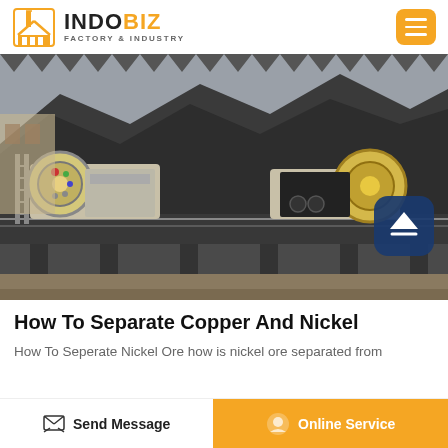INDOBIZ FACTORY & INDUSTRY
[Figure (photo): Outdoor industrial mineral processing plant with two large jaw crusher machines on an elevated platform, with buildings and a mountainous or coal-pile backdrop. A blue scroll-to-top button is overlaid in the bottom-right corner.]
How To Separate Copper And Nickel
How To Seperate Nickel Ore how is nickel ore separated from